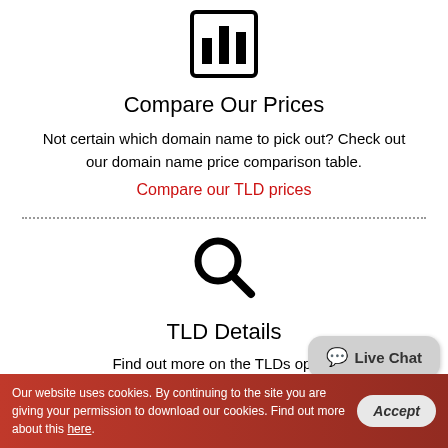[Figure (illustration): Bar chart icon inside a square border]
Compare Our Prices
Not certain which domain name to pick out? Check out our domain name price comparison table.
Compare our TLD prices
[Figure (illustration): Magnifying glass / search icon]
TLD Details
Find out more on the TLDs opnux
Our website uses cookies. By continuing to the site you are giving your permission to download our cookies. Find out more about this here.